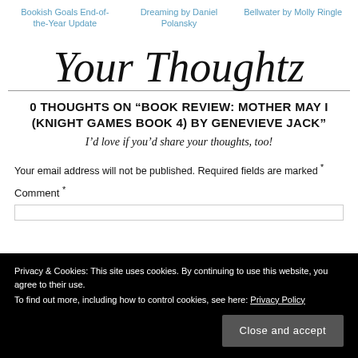Bookish Goals End-of-the-Year Update | Dreaming by Daniel Polansky | Bellwater by Molly Ringle
[Figure (illustration): Decorative cursive/script text reading 'Your Thoughtz' with a horizontal underline beneath it]
0 THOUGHTS ON “BOOK REVIEW: MOTHER MAY I (KNIGHT GAMES BOOK 4) BY GENEVIEVE JACK”
I’d love if you’d share your thoughts, too!
Your email address will not be published. Required fields are marked *
Comment *
Privacy & Cookies: This site uses cookies. By continuing to use this website, you agree to their use.
To find out more, including how to control cookies, see here: Privacy Policy
Close and accept